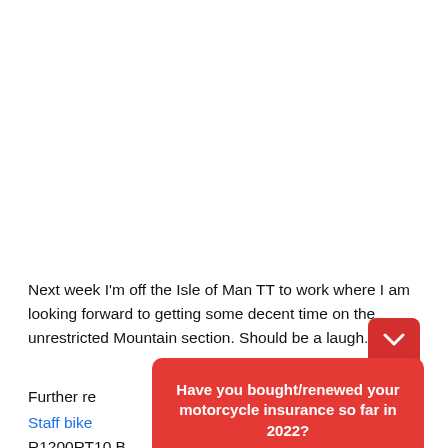Next week I'm off the Isle of Man TT to work where I am looking forward to getting some decent time on the unrestricted Mountain section. Should be a laugh.
Further re
Staff bike
R1200RT10 B
[Figure (infographic): Red popup card with question 'Have you bought/renewed your motorcycle insurance so far in 2022?' and a blue Reply button, with a small red chevron tab above]